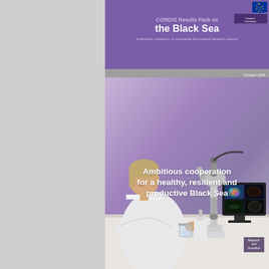[Figure (logo): European Commission logo with EU flag stars and 'European Commission' text]
CORDIS Results Pack on the Black Sea
A thematic collection of innovative EU-funded research results
October 2020
[Figure (photo): Scientist in white lab coat looking through a microscope, with a computer monitor displaying microscopy images of marine organisms in the background. Laboratory setting with bottles and equipment.]
Ambitious cooperation for a healthy, resilient and productive Black Sea
Research and Innovation